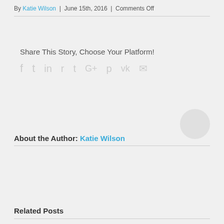By Katie Wilson | June 15th, 2016 | Comments Off
Share This Story, Choose Your Platform!
[Figure (other): Social media share icons: facebook, twitter, linkedin, reddit, tumblr, google+, pinterest, vk, email]
[Figure (other): Author avatar circle placeholder]
About the Author: Katie Wilson
Related Posts